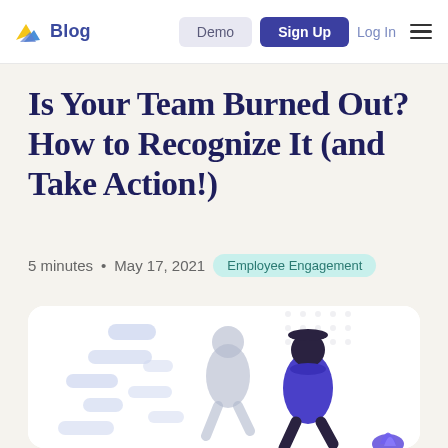Blog | Demo | Sign Up | Log In
Is Your Team Burned Out? How to Recognize It (and Take Action!)
5 minutes • May 17, 2021  Employee Engagement
[Figure (illustration): Illustration of two office workers walking looking fatigued, with floating chat/message bubbles in the background suggesting workplace communication overload. One figure is rendered in blue/purple tones.]